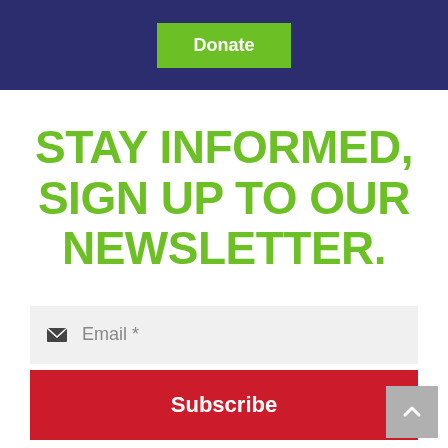Donate
STAY INFORMED, SIGN UP TO OUR NEWSLETTER.
Email *
Subscribe